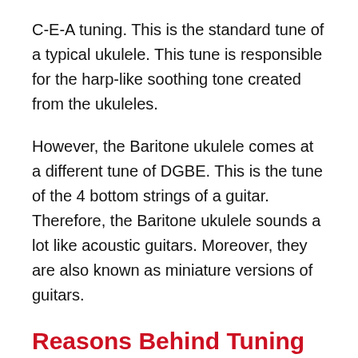C-E-A tuning. This is the standard tune of a typical ukulele. This tune is responsible for the harp-like soothing tone created from the ukuleles.
However, the Baritone ukulele comes at a different tune of DGBE. This is the tune of the 4 bottom strings of a guitar. Therefore, the Baritone ukulele sounds a lot like acoustic guitars. Moreover, they are also known as miniature versions of guitars.
Reasons Behind Tuning Your Baritone Ukulele to GCEA
Now that you've got a clear idea about the GCEA